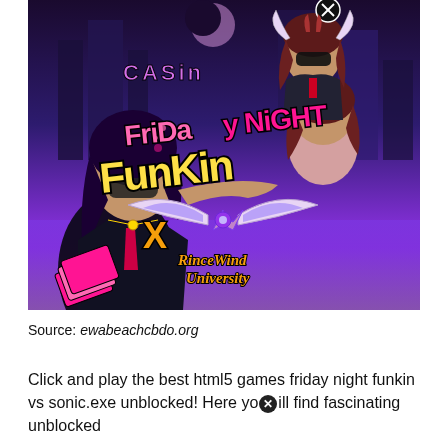[Figure (illustration): Friday Night Funkin x RinceWind University promotional game art. Colorful anime-style characters on a casino city background. Pink and yellow graffiti-style logo text reads 'Friday Night Funkin' with 'X RinceWind University' below. Left side shows a dark-haired character in a suit holding cards. Upper right shows a chibi girl character with dark hair and sunglasses riding another character. Purple/pink city skyline background with 'CASINO' sign.]
Source: ewabeachcbdo.org
Click and play the best html5 games friday night funkin vs sonic.exe unblocked! Here you will find fascinating unblocked